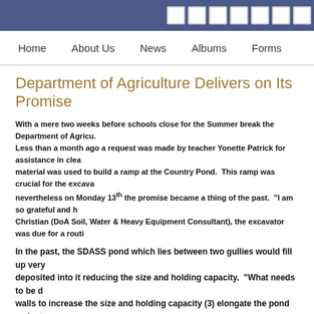Navigation bar with Home, About Us, News, Albums, Forms
Department of Agriculture Delivers on Its Promise
With a mere two weeks before schools close for the Summer break the Department of Agriculture. Less than a month ago a request was made by teacher Yonette Patrick for assistance in clearing material was used to build a ramp at the Country Pond. This ramp was crucial for the excavator nevertheless on Monday 13th the promise became a thing of the past. "I am so grateful and Christian (DoA Soil, Water & Heavy Equipment Consultant), the excavator was due for a routine
In the past, the SDASS pond which lies between two gullies would fill up very deposited into it reducing the size and holding capacity. "What needs to be done walls to increase the size and holding capacity (3) elongate the pond so instead available. Additionally, the oval shape would be done so that none of the culb
Adjacent to the pond was the compost heap. The compost generated in the heap combination should increase the tilth and friability of the soil making it even more animal husbandry) and this enhances the quality of the compost by combining the
The DoA within the Ministry of Agriculture, Fisheries and Barbuda Affairs once again Security's priority.